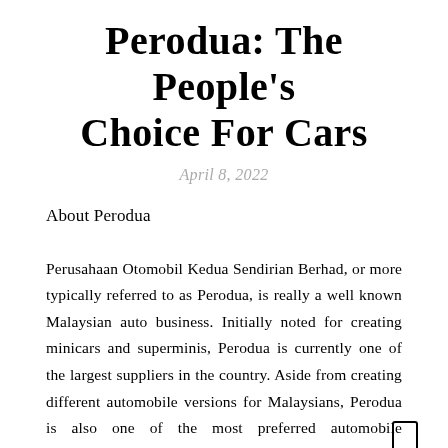Perodua: The People's Choice For Cars
April 8, 2022
About Perodua
Perusahaan Otomobil Kedua Sendirian Berhad, or more typically referred to as Perodua, is really a well known Malaysian auto business. Initially noted for creating minicars and superminis, Perodua is currently one of the largest suppliers in the country. Aside from creating different automobile versions for Malaysians, Perodua is also one of the most preferred automobile manufacturers in the nation.
Perodua: Then now
Given that 1993, Perodua has created several amazing